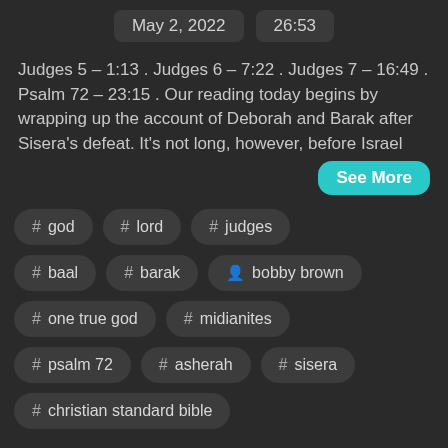May 2, 2022   26:53
Judges 5 – 1:13 . Judges 6 – 7:22 . Judges 7 – 16:49 . Psalm 72 – 23:15 . Our reading today begins by wrapping up the account of Deborah and Barak after Sisera's defeat. It's not long, however, before Israel
See More
# god
# lord
# judges
# baal
# barak
bobby brown
# one true god
# midianites
# psalm 72
# asherah
# sisera
# christian standard bible